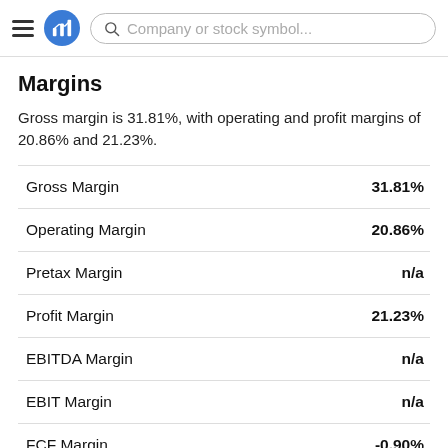Company or stock symbol...
Margins
Gross margin is 31.81%, with operating and profit margins of 20.86% and 21.23%.
|  |  |
| --- | --- |
| Gross Margin | 31.81% |
| Operating Margin | 20.86% |
| Pretax Margin | n/a |
| Profit Margin | 21.23% |
| EBITDA Margin | n/a |
| EBIT Margin | n/a |
| FCF Margin | -0.90% |